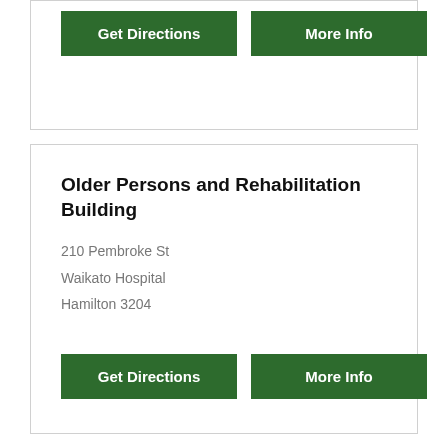Get Directions | More Info
Older Persons and Rehabilitation Building
210 Pembroke St
Waikato Hospital
Hamilton 3204
Get Directions | More Info